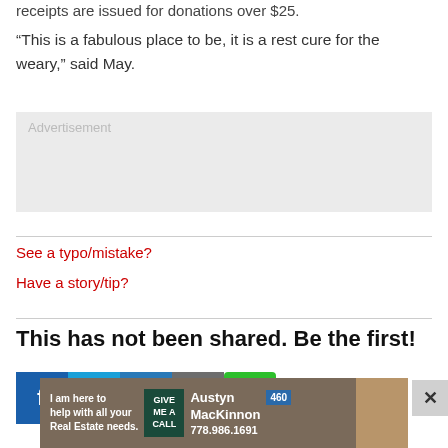receipts are issued for donations over $25.
“This is a fabulous place to be, it is a rest cure for the weary,” said May.
[Figure (other): Advertisement placeholder box with light gray background and 'Advertisement' label]
See a typo/mistake?
Have a story/tip?
This has not been shared. Be the first!
[Figure (infographic): Social sharing buttons: Facebook (blue), Twitter (cyan), LinkedIn (blue), Email (gray), SMS (green)]
[Figure (infographic): Bottom advertisement banner for Austyn MacKinnon Real Estate, 778.986.1691]